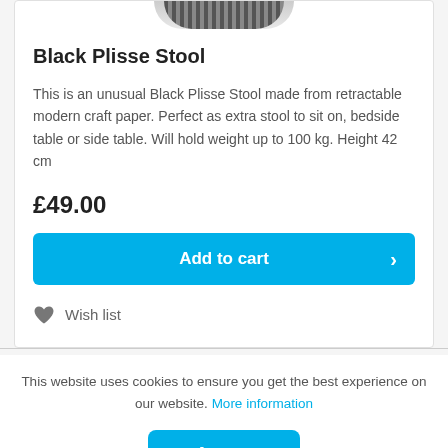[Figure (photo): Partial top view of a Black Plisse Stool product image showing dark accordion/pleated top]
Black Plisse Stool
This is an unusual Black Plisse Stool made from retractable modern craft paper. Perfect as extra stool to sit on, bedside table or side table. Will hold weight up to 100 kg. Height 42 cm
£49.00
Add to cart
Wish list
This website uses cookies to ensure you get the best experience on our website. More information
Accept